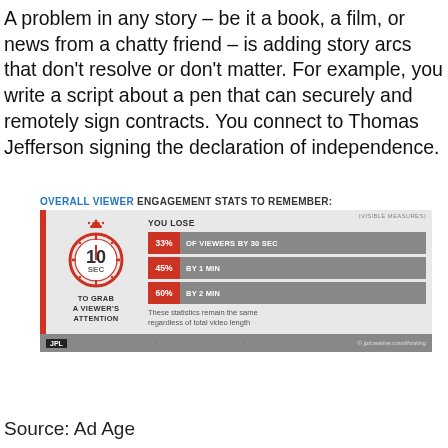A problem in any story – be it a book, a film, or news from a chatty friend – is adding story arcs that don't resolve or don't matter. For example, you write a script about a pen that can securely and remotely sign contracts. You connect to Thomas Jefferson signing the declaration of independence.
[Figure (infographic): Infographic titled 'OVERALL VIEWER ENGAGEMENT STATS TO REMEMBER:' showing a stopwatch labeled '10 SEC TO GRAB A VIEWER'S ATTENTION' on the left, and on the right three bars: 33% OF VIEWERS BY 30 SEC, 45% BY 1 MIN, 60% BY 2 MIN, with note 'These statistics remain the same regardless of total video length'. Source watermark: (VISIBLE MEASURES). JPL logo at bottom left. URL jplcreative.com/thinking at bottom right.]
Source: Ad Age